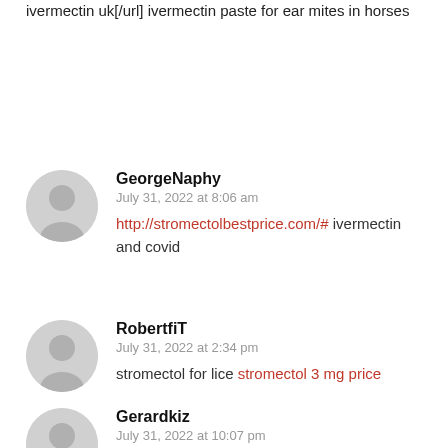ivermectin uk[/url] ivermectin paste for ear mites in horses
GeorgeNaphy
July 31, 2022 at 8:06 am
http://stromectolbestprice.com/# ivermectin and covid
RobertfiT
July 31, 2022 at 2:34 pm
stromectol for lice stromectol 3 mg price
Gerardkiz
July 31, 2022 at 10:07 pm